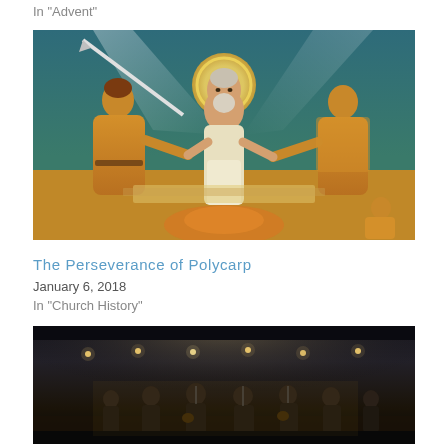In "Advent"
[Figure (photo): Religious mural painting showing a central figure of an elderly bearded man with a halo, partially clothed, surrounded by figures in robes. Golden and teal tones dominate.]
The Perseverance of Polycarp
January 6, 2018
In "Church History"
[Figure (photo): Concert photo showing a band performing on a dimly lit stage with string lights overhead. Multiple musicians with guitars and microphones visible.]